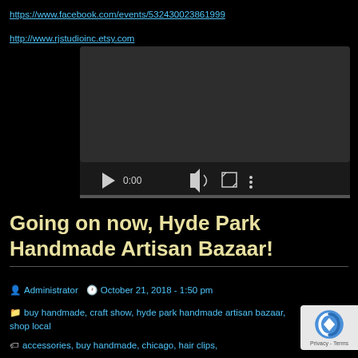https://www.facebook.com/events/532430023861999
http://www.rjstudioinc.etsy.com
[Figure (screenshot): Embedded video player showing 0:00 timestamp with dark background, play button, volume, fullscreen controls, and progress bar]
Going on now, Hyde Park Handmade Artisan Bazaar!
Administrator  October 21, 2018 - 1:50 pm
buy handmade, craft show, hyde park handmade artisan bazaar, shop local
accessories, buy handmade, chicago, hair clips,